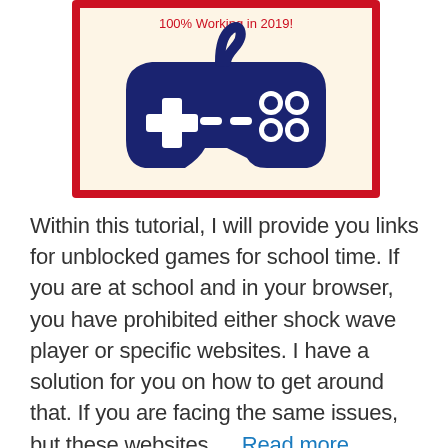[Figure (illustration): A dark blue game controller illustration on a cream/beige background with a red border. The controller shows a D-pad (cross shape) on the left, dash buttons in the middle, and circular buttons on the right. Text '100% Working in 2019!' appears at the top in red.]
Within this tutorial, I will provide you links for unblocked games for school time. If you are at school and in your browser, you have prohibited either shock wave player or specific websites. I have a solution for you on how to get around that. If you are facing the same issues, but these websites … Read more